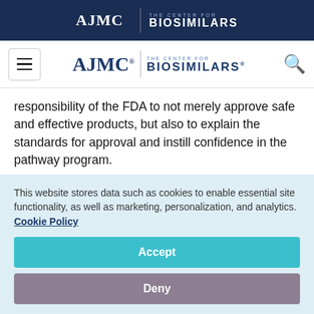AJMC | THE CENTER FOR BIOSIMILARS
[Figure (logo): AJMC The Center for Biosimilars navigation logo with hamburger menu and search icon]
responsibility of the FDA to not merely approve safe and effective products, but also to explain the standards for approval and instill confidence in the pathway program.
The longevity the European Union's biosimilar
This website stores data such as cookies to enable essential site functionality, as well as marketing, personalization, and analytics. Cookie Policy
Accept
Deny